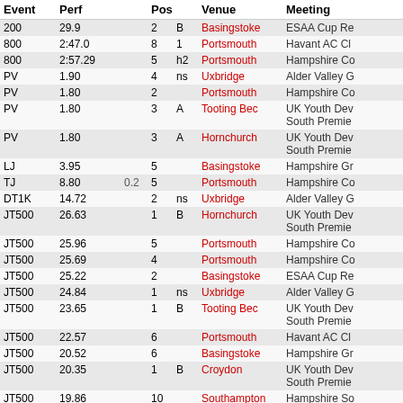| Event | Perf |  | Pos |  | Venue | Meeting |
| --- | --- | --- | --- | --- | --- | --- |
| 200 | 29.9 |  | 2 | B | Basingstoke | ESAA Cup Re |
| 800 | 2:47.0 |  | 8 | 1 | Portsmouth | Havant AC Cl |
| 800 | 2:57.29 |  | 5 | h2 | Portsmouth | Hampshire Co |
| PV | 1.90 |  | 4 | ns | Uxbridge | Alder Valley G |
| PV | 1.80 |  | 2 |  | Portsmouth | Hampshire Co |
| PV | 1.80 |  | 3 | A | Tooting Bec | UK Youth Dev South Premie |
| PV | 1.80 |  | 3 | A | Hornchurch | UK Youth Dev South Premie |
| LJ | 3.95 |  | 5 |  | Basingstoke | Hampshire Gr |
| TJ | 8.80 | 0.2 | 5 |  | Portsmouth | Hampshire Co |
| DT1K | 14.72 |  | 2 | ns | Uxbridge | Alder Valley G |
| JT500 | 26.63 |  | 1 | B | Hornchurch | UK Youth Dev South Premie |
| JT500 | 25.96 |  | 5 |  | Portsmouth | Hampshire Co |
| JT500 | 25.69 |  | 4 |  | Portsmouth | Hampshire Co |
| JT500 | 25.22 |  | 2 |  | Basingstoke | ESAA Cup Re |
| JT500 | 24.84 |  | 1 | ns | Uxbridge | Alder Valley G |
| JT500 | 23.65 |  | 1 | B | Tooting Bec | UK Youth Dev South Premie |
| JT500 | 22.57 |  | 6 |  | Portsmouth | Havant AC Cl |
| JT500 | 20.52 |  | 6 |  | Basingstoke | Hampshire Gr |
| JT500 | 20.35 |  | 1 | B | Croydon | UK Youth Dev South Premie |
| JT500 | 19.86 |  | 10 |  | Southampton | Hampshire So |